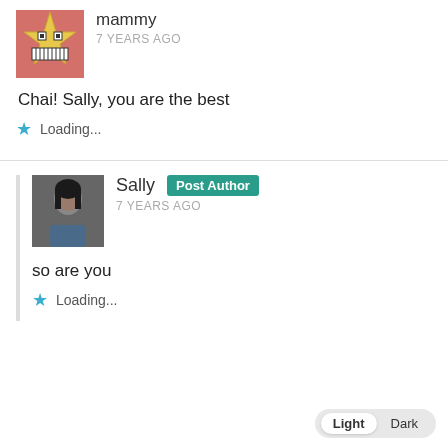mammy
7 YEARS AGO
Chai! Sally, you are the best
Loading...
Sally  Post Author
7 YEARS AGO
so are you
Loading...
Light  Dark